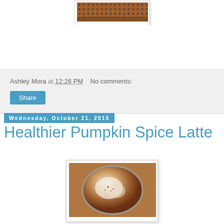[Figure (photo): Partial photo showing a person's hands/feet with a dotted fabric pattern, shown in a white-bordered frame at top center]
Ashley Mora at 12:26 PM   No comments:
Share
Wednesday, October 21, 2015
Healthier Pumpkin Spice Latte
[Figure (photo): Top-down photo of a pumpkin spice latte in a round cup/bowl with foam and spice dusting on a wooden surface]